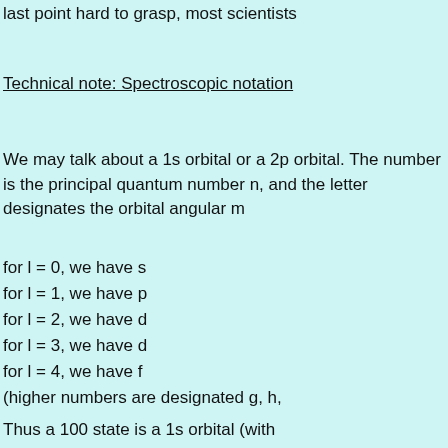last point hard to grasp, most scientists
Technical note: Spectroscopic notation
We may talk about a 1s orbital or a 2p orbital. The number is the principal quantum number n, and the letter designates the orbital angular momentum quantum number l:
for l = 0, we have s
for l = 1, we have p
for l = 2, we have d
for l = 3, we have d
for l = 4, we have f
(higher numbers are designated g, h,
Thus a 100 state is a 1s orbital (with n=1, l=0, m=0). Things get complicated especially for all the other elements with more than one electron. Complicating the picture we have photons. Electrons have a fourth quantum number, s, for spin. Classically we can think of one for rotation and another for their orbit around the nucleus...but electrons do not necessarily orbit the nucleus. Electron spin and orbit angular momentum are similar to classical angular momentum. Electrons are very different! They have an intrinsic angular momentum, but they are not angular
Conclusion